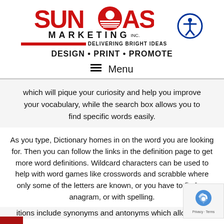[Figure (logo): Suncoast Marketing Inc. logo with sun graphic, tagline 'Delivering Bright Ideas', and accessibility icon]
DESIGN • PRINT • PROMOTE
Menu
which will pique your curiosity and help you improve your vocabulary, while the search box allows you to find specific words easily.
As you type, Dictionary homes in on the word you are looking for. Then you can follow the links in the definition page to get more word definitions. Wildcard characters can be used to help with word games like crosswords and scrabble where only some of the letters are known, or you have to find an anagram, or with spelling.
itions include synonyms and antonyms which allows the